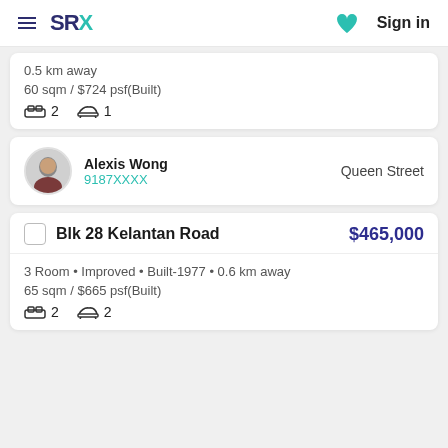SRX  Sign in
0.5 km away
60 sqm / $724 psf(Built)
2 bedrooms  1 bathroom
Alexis Wong
9187XXXX
Queen Street
Blk 28 Kelantan Road  $465,000
3 Room • Improved • Built-1977 • 0.6 km away
65 sqm / $665 psf(Built)
2 bedrooms  2 bathrooms